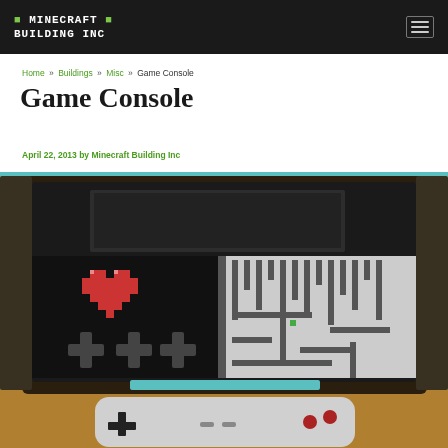MINECRAFT BUILDING INC
Home » Buildings » Misc » Game Console
Game Console
April 22, 2013 by Minecraft Building Inc
[Figure (screenshot): Minecraft-built game console showing a large screen with a pixel-art heart and a maze game, with a NES-style controller in the foreground, set in a Minecraft world with teal/cyan sky background.]